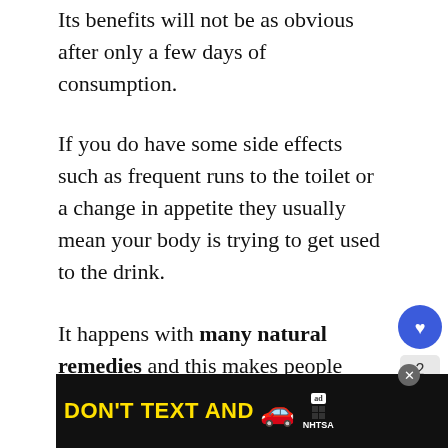Its benefits will not be as obvious after only a few days of consumption.
If you do have some side effects such as frequent runs to the toilet or a change in appetite they usually mean your body is trying to get used to the drink.
It happens with many natural remedies and this makes people give them up.
However, if you have some reactions that seem severe or last too long and are not a result of cleansing, maybe there is something your body just...
[Figure (screenshot): UI overlay with heart/like button (blue circle), count of 2, and share button. Also a 'What's Next' video recommendation card showing 'Will Kombucha...' with thumbnail.]
[Figure (screenshot): Advertisement banner at bottom: dark background with 'DON'T TEXT AND' in yellow/cyan text, a red car emoji graphic, ad badge icon, and NHTSA logo.]